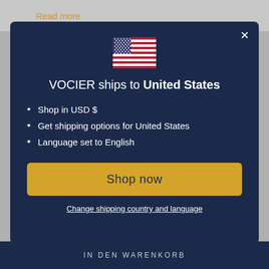Read more
[Figure (illustration): US flag emoji used as modal icon]
VOCIER ships to United States
Shop in USD $
Get shipping options for United States
Language set to English
Shop now
Change shipping country and language
IN DEN WARENKORB